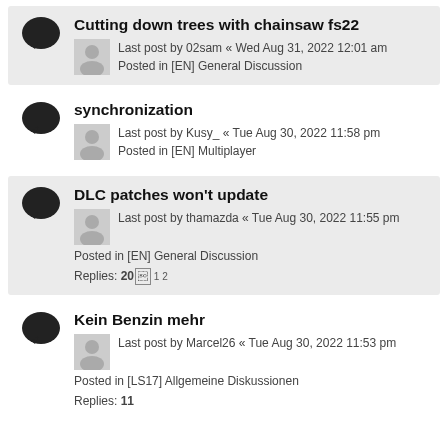Cutting down trees with chainsaw fs22
Last post by 02sam « Wed Aug 31, 2022 12:01 am
Posted in [EN] General Discussion
synchronization
Last post by Kusy_ « Tue Aug 30, 2022 11:58 pm
Posted in [EN] Multiplayer
DLC patches won't update
Last post by thamazda « Tue Aug 30, 2022 11:55 pm
Posted in [EN] General Discussion
Replies: 20  1 2
Kein Benzin mehr
Last post by Marcel26 « Tue Aug 30, 2022 11:53 pm
Posted in [LS17] Allgemeine Diskussionen
Replies: 11